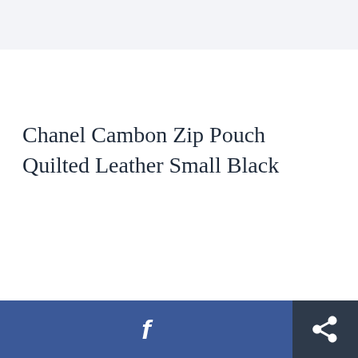Chanel Cambon Zip Pouch Quilted Leather Small Black
[Figure (other): Facebook share button (blue background with white 'f' icon) and a share/export button (dark navy background with white share icon) at the bottom of the page]